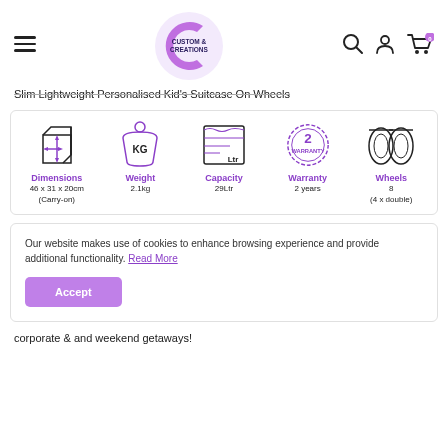Custom & Creations logo with navigation icons
Slim Lightweight Personalised Kid's Suitcase On Wheels
[Figure (infographic): Product specifications infographic with 5 icons: Dimensions (46 x 31 x 20cm Carry-on), Weight (2.1kg), Capacity (29Ltr), Warranty (2 years), Wheels (8, 4 x double)]
Our website makes use of cookies to enhance browsing experience and provide additional functionality. Read More
corporate & and weekend getaways!